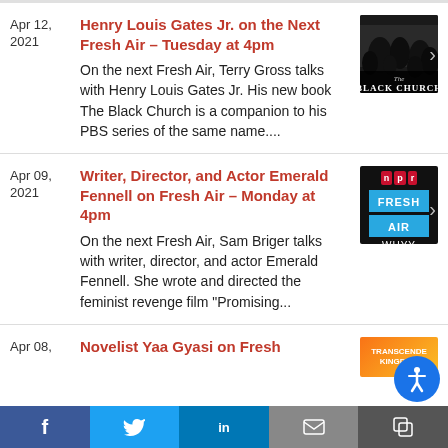Apr 12, 2021 — Henry Louis Gates Jr. on the Next Fresh Air – Tuesday at 4pm. On the next Fresh Air, Terry Gross talks with Henry Louis Gates Jr. His new book The Black Church is a companion to his PBS series of the same name....
Apr 09, 2021 — Writer, Director, and Actor Emerald Fennell on Fresh Air – Monday at 4pm. On the next Fresh Air, Sam Briger talks with writer, director, and actor Emerald Fennell. She wrote and directed the feminist revenge film "Promising...
Apr 08, — Novelist Yaa Gyasi on Fresh
[Figure (screenshot): Social sharing bar with Facebook, Twitter, LinkedIn, email, and copy link buttons; accessibility icon button]